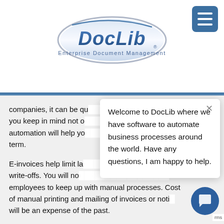[Figure (logo): DocLib Enterprise Document Management logo — blue italic text 'DocLib' inside a silver/blue oval ellipse, with tagline 'Enterprise Document Management' below]
[Figure (other): Blue rounded square hamburger menu icon with three white horizontal bars]
companies, it can be qu... you keep in mind not o... automation will help yo... term.
E-invoices help limit la... write-offs. You will no... employees to keep up with manual processes. Cost of manual printing and mailing of invoices or notic... will be an expense of the past.
[Figure (screenshot): Chat popup overlay: 'Welcome to DocLib where we have software to automate business processes around the world. Have any questions, I am happy to help.' with close X button]
[Figure (other): Round dark blue chat bubble button icon at bottom right]